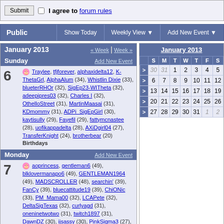Submit  I agree to forum rules
Public  Show Today  Weekly View  Add New Event
January 2013  « Week | Week »
Sunday  Add New Event
6 🎂 Traylee, tfjforever, alphaxidelta12, K-ThetaGrl, AlphaAlum (34), Whistlin Dixie (33), blueterRHOr (32), SigEp23-WITheta (32), adeepipres03 (32), Charles I (32), OthelloStreet (31), MartinMaasai (31), KDmommy (31), ADPi_SigEpGirl (30), kaytisully (29), Fayefil (29), fattymcnastee (28), uofikappadelta (28), AXiDgirl04 (27), TransferKnight (24), brotherbear (20) Birthdays
Monday  Add New Event
7 🎂 aoprincess, gentleman6 (49), blklovermanapo6 (49), GENTLEMAN1964 (49), MADSCROLLER (48), searchin' (39), FanCy (39), bluecattitude19 (39), ChiONic (33), PM_Mama00 (32), LCAPete (32), DeltaSigTexas (32), curlyagd (31), oneninetwotwo (31), twitch1897 (31), DawnDZ (30), ijsassy (30), PinkSigma3 (27), AXCasey (26), tlw23, PiPhiTillDie (22) Birthdays
|  | S | M | T | W | T | F | S |
| --- | --- | --- | --- | --- | --- | --- | --- |
| > | 30 | 31 | 1 | 2 | 3 | 4 | 5 |
| > | 6 | 7 | 8 | 9 | 10 | 11 | 12 |
| > | 13 | 14 | 15 | 16 | 17 | 18 | 19 |
| > | 20 | 21 | 22 | 23 | 24 | 25 | 26 |
| > | 27 | 28 | 29 | 30 | 31 | 1 | 2 |